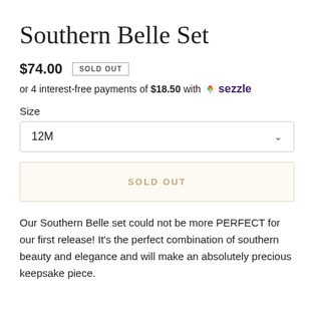Southern Belle Set
$74.00  SOLD OUT
or 4 interest-free payments of $18.50 with ⬡ sezzle
Size
12M
SOLD OUT
Our Southern Belle set could not be more PERFECT for our first release! It's the perfect combination of southern beauty and elegance and will make an absolutely precious keepsake piece.